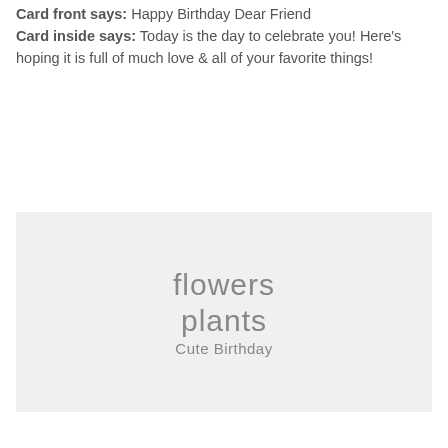Card front says: Happy Birthday Dear Friend
Card inside says: Today is the day to celebrate you! Here's hoping it is full of much love & all of your favorite things!
[Figure (other): Light gray box showing keyword tags: flowers, plants, Cute Birthday]